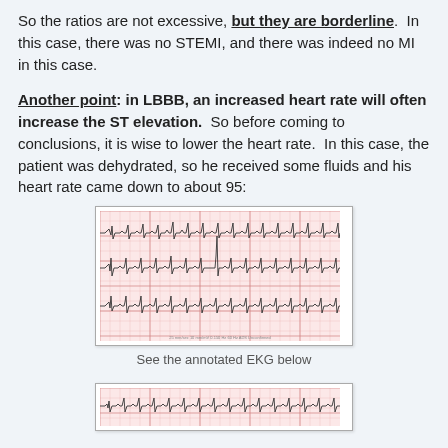So the ratios are not excessive, but they are borderline. In this case, there was no STEMI, and there was indeed no MI in this case.
Another point: in LBBB, an increased heart rate will often increase the ST elevation. So before coming to conclusions, it is wise to lower the heart rate. In this case, the patient was dehydrated, so he received some fluids and his heart rate came down to about 95:
[Figure (other): EKG tracing on pink grid paper showing cardiac rhythm strips with LBBB pattern after heart rate reduction to about 95]
See the annotated EKG below
[Figure (other): Second EKG tracing on pink grid paper, partially visible at bottom of page]